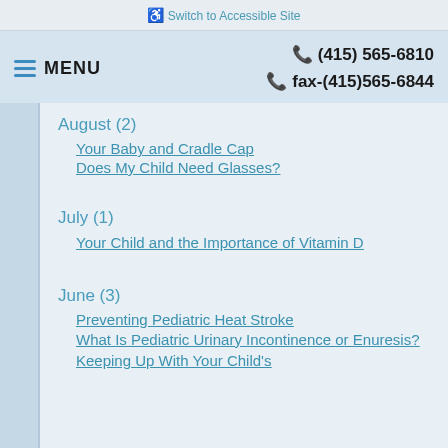♿ Switch to Accessible Site
☰ MENU   📞 (415) 565-6810   📞 fax-(415)565-6844
August (2)
Your Baby and Cradle Cap
Does My Child Need Glasses?
July (1)
Your Child and the Importance of Vitamin D
June (3)
Preventing Pediatric Heat Stroke
What Is Pediatric Urinary Incontinence or Enuresis?
Keeping Up With Your Child's